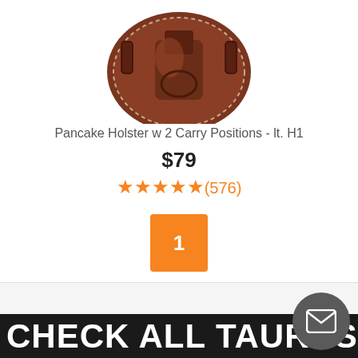[Figure (photo): Partial view of a brown leather pancake holster with stitching details, shown from above on white background]
Pancake Holster w 2 Carry Positions - lt. H1
$79
★★★★★ (576)
1
CHECK ALL TAURUS 44